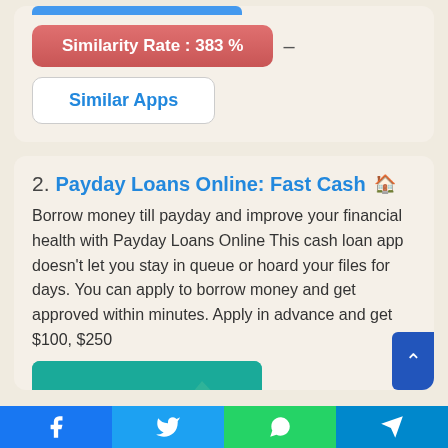[Figure (screenshot): Blue progress bar at top of card]
Similarity Rate : 383 %
Similar Apps
2. Payday Loans Online: Fast Cash
Borrow money till payday and improve your financial health with Payday Loans Online This cash loan app doesn't let you stay in queue or hoard your files for days. You can apply to borrow money and get approved within minutes. Apply in advance and get $100, $250
[Figure (screenshot): App screenshot showing teal background with illustrated bug/cockroach graphic]
[Figure (infographic): Bottom social sharing bar with Facebook, Twitter, WhatsApp, Telegram icons]